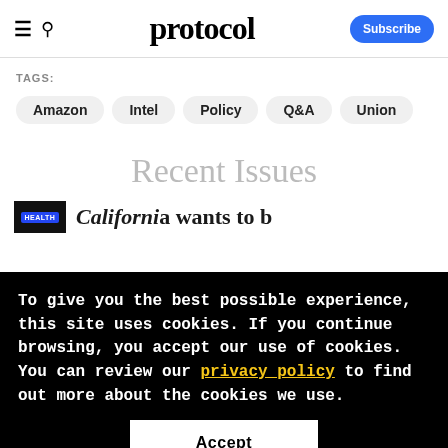protocol — Subscribe
TAGS:
Amazon
Intel
Policy
Q&A
Union
Recent Issues
To give you the best possible experience, this site uses cookies. If you continue browsing, you accept our use of cookies. You can review our privacy policy to find out more about the cookies we use.
Accept